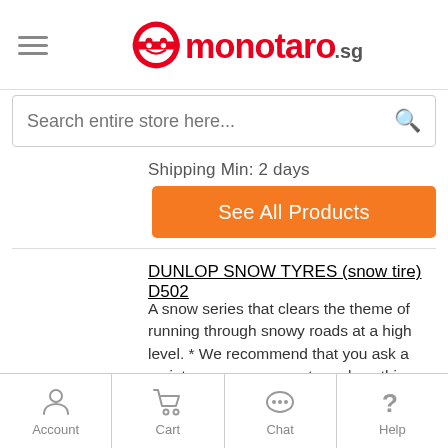monotaro.sg
Search entire store here...
Shipping Min: 2 days
See All Products
DUNLOP SNOW TYRES (snow tire) D502
A snow series that clears the theme of running through snowy roads at a high level. * We recommend that you ask a maintenance company to replace this product. Compensation may not be possible if the replacement work is done individually.
Standard Rim Width (Inch)  1.60
Account  Cart  Chat  Help